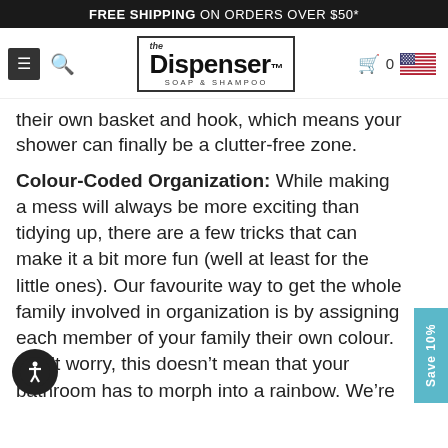FREE SHIPPING ON ORDERS OVER $50*
[Figure (logo): The Dispenser Soap & Shampoo logo with navigation bar including hamburger menu, search icon, cart icon, and US flag]
their own basket and hook, which means your shower can finally be a clutter-free zone.
Colour-Coded Organization: While making a mess will always be more exciting than tidying up, there are a few tricks that can make it a bit more fun (well at least for the little ones). Our favourite way to get the whole family involved in organization is by assigning each member of your family their own colour. Don’t worry, this doesn’t mean that your bathroom has to morph into a rainbow. We’re talking about subtle additions like colour-coded hooks, toothbrushes, and baskets. It can even be as simple as adding a coloured label onto existing bathroom products so that your family members know where to put their stuff.